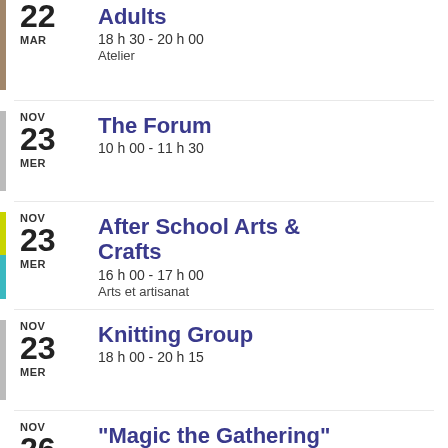22 MAR | Adults | 18 h 30 - 20 h 00 | Atelier
NOV 23 MER | The Forum | 10 h 00 - 11 h 30
NOV 23 MER | After School Arts & Crafts | 16 h 00 - 17 h 00 | Arts et artisanat
NOV 23 MER | Knitting Group | 18 h 00 - 20 h 15
NOV 26 | "Magic the Gathering"